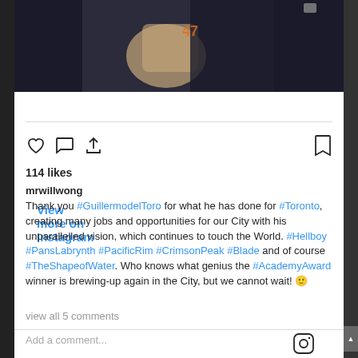[Figure (photo): Partial photo of person in dark jacket with hand visible, likely a celebrity photo]
View more on Instagram
114 likes
mrwillwong  Thank you #GuillermodelToro for what he has done for #Toronto, creating many jobs and opportunities for our City with his unparallelled vision, which continues to touch the World. #Hellboy #PansLabrynth #PacificRim #CrimsonPeak #Blade and of course #TheShapeofWater. Who knows what genius the #AcademyAward winner is brewing-up again in the City, but we cannot wait! 🙂
view all 5 comments
Add a comment...